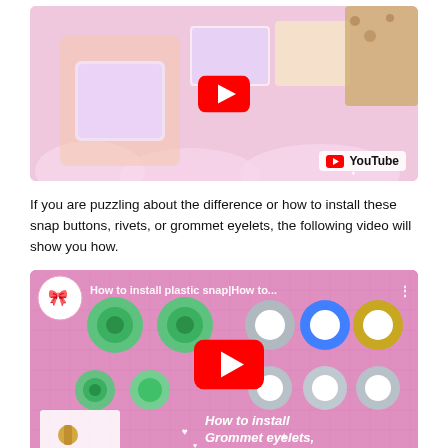[Figure (screenshot): YouTube video thumbnail showing fabric wallets/pouches with Disney-style cartoon prints and colorful fabrics. Pink cloud decorative background with YouTube play button overlay and YouTube logo in bottom right.]
If you are puzzling about the difference or how to install these snap buttons, rivets, or grommet eyelets, the following video will show you how.
[Figure (screenshot): YouTube video thumbnail showing 'How to install plastic snap|How to...' with green plastic snap buttons on left side and silver/blue/yellow grommet eyelets on right side against a pink grid background. Has a channel logo circle (Momknots), three-dot menu, large red YouTube play button in center, and italic bold text at bottom reading 'How to install Grommet eyelets,']